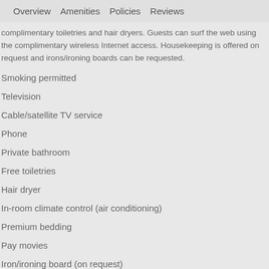Overview   Amenities   Policies   Reviews
complimentary toiletries and hair dryers. Guests can surf the web using the complimentary wireless Internet access. Housekeeping is offered on request and irons/ironing boards can be requested.
Smoking permitted
Television
Cable/satellite TV service
Phone
Private bathroom
Free toiletries
Hair dryer
In-room climate control (air conditioning)
Premium bedding
Pay movies
Iron/ironing board (on request)
Free bottled water
Premium TV channels
Blackout drapes/curtains